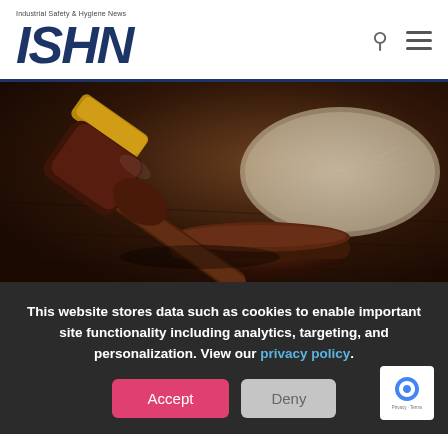Industrial Safety & Hygiene News — ISHN
[Figure (photo): Close-up photograph of a wooden judge's gavel resting on its sound block, with an open book blurred in the background, on a dark wooden surface.]
This website stores data such as cookies to enable important site functionality including analytics, targeting, and personalization. View our privacy policy.
Accept | Deny